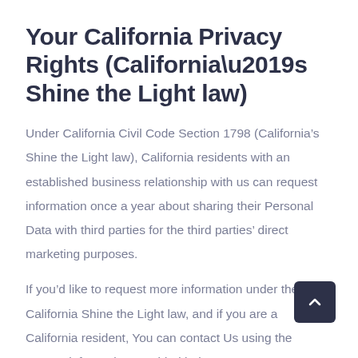Your California Privacy Rights (California’s Shine the Light law)
Under California Civil Code Section 1798 (California’s Shine the Light law), California residents with an established business relationship with us can request information once a year about sharing their Personal Data with third parties for the third parties’ direct marketing purposes.
If you’d like to request more information under the California Shine the Light law, and if you are a California resident, You can contact Us using the contact information provided below.